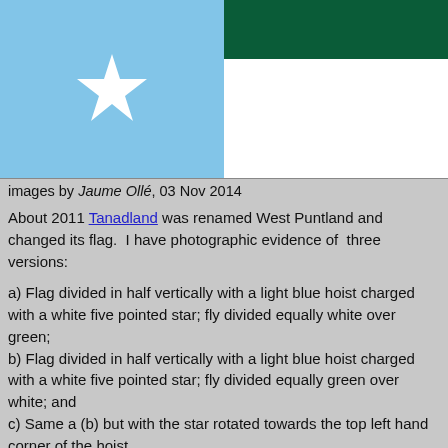[Figure (illustration): Two flags side by side. Left flag: light blue with a white five-pointed star in the center. Right flag: divided horizontally, top half dark green, bottom half white.]
images by Jaume Ollé, 03 Nov 2014
About 2011 Tanadland was renamed West Puntland and changed its flag.  I have photographic evidence of  three versions:
a) Flag divided in half vertically with a light blue hoist charged with a white five pointed star; fly divided equally white over green;
b) Flag divided in half vertically with a light blue hoist charged with a white five pointed star; fly divided equally green over white; and
c) Same a (b) but with the star rotated towards the top left hand corner of the hoist.
Jaume Ollé, 03 Nov 2014